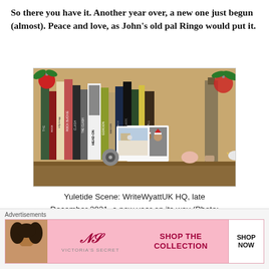So there you have it. Another year over, a new one just begun (almost). Peace and love, as John's old pal Ringo would put it.
[Figure (photo): A bookshelf decorated for Christmas with books, a red ornament, holly, small white ceramic birds, a framed family photo with people wearing Santa hats, CDs, and a wine bottle. Yuletide scene at WriteWyattUK HQ, late December 2021.]
Yuletide Scene: WriteWyattUK HQ, late December 2021, a new year on its way (Photo: Malcolm Wyatt)